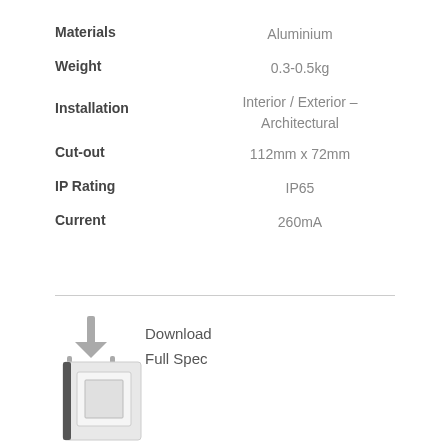| Property | Value |
| --- | --- |
| Materials | Aluminium |
| Weight | 0.3-0.5kg |
| Installation | Interior / Exterior – Architectural |
| Cut-out | 112mm x 72mm |
| IP Rating | IP65 |
| Current | 260mA |
[Figure (illustration): Download icon — downward arrow into a tray]
Download
Full Spec
[Figure (photo): Small product thumbnail — white square recessed light fixture with dark left edge]